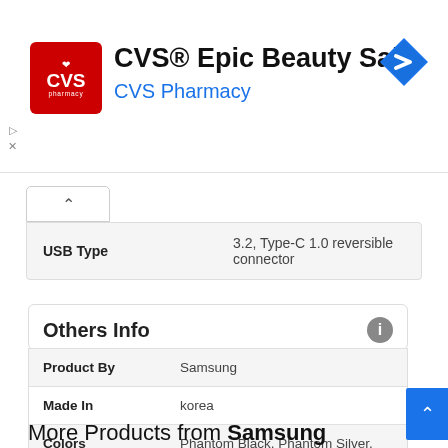[Figure (logo): CVS Pharmacy advertisement banner with red CVS logo, title 'CVS® Epic Beauty Sale', subtitle 'CVS Pharmacy' in blue, and a blue navigation icon on the right]
|  |  |
| --- | --- |
| USB Type | 3.2, Type-C 1.0 reversible connector |
Others Info
| Product By | Samsung |
| Made In | korea |
| Colors Available | Phantom Black, Phantom Silver, Phantom Titanium, Phantom Navy, Phantom Brown |
More Products from Samsung